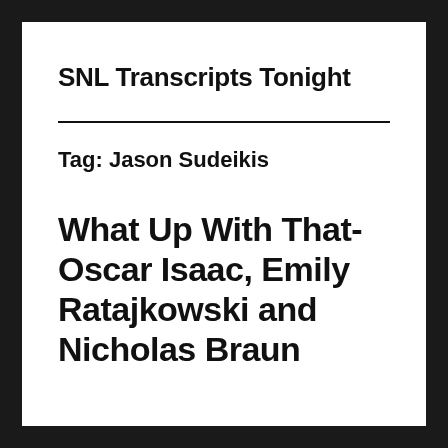SNL Transcripts Tonight
Tag: Jason Sudeikis
What Up With That- Oscar Isaac, Emily Ratajkowski and Nicholas Braun